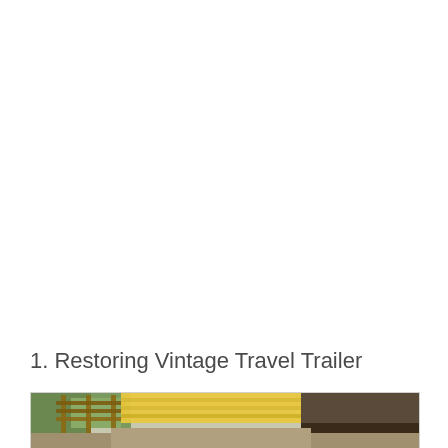1. Restoring Vintage Travel Trailer
[Figure (photo): Outdoor photograph showing a vintage travel trailer with wooden awning/pergola structure and yellow canopy, parked with trees visible in the background]